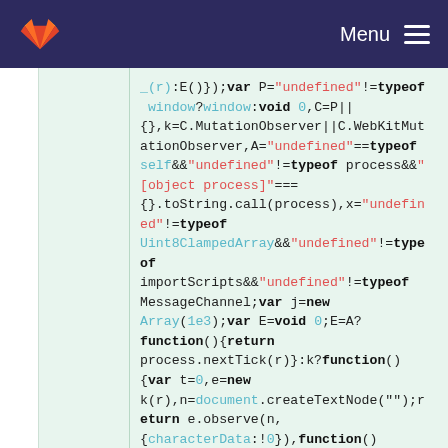Menu
_(r):E()});var P="undefined"!=typeof window?window:void 0,C=P||{},k=C.MutationObserver||C.WebKitMutationObserver,A="undefined"==typeof self&&"undefined"!=typeof process&&"[object process]"==={}.toString.call(process),x="undefined"!=typeof Uint8ClampedArray&&"undefined"!=typeof importScripts&&"undefined"!=typeof MessageChannel;var j=new Array(1e3);var E=void 0;E=A?function(){return process.nextTick(r)}:k?function(){var t=0,e=new k(r),n=document.createTextNode("");return e.observe(n,{characterData:!0}),function(){n.data=t=++t%2}}():x?function(){var